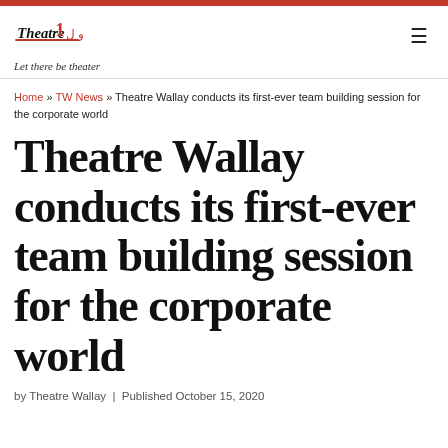Theatre Wallay – Let there be theater
Home » TW News » Theatre Wallay conducts its first-ever team building session for the corporate world
Theatre Wallay conducts its first-ever team building session for the corporate world
by Theatre Wallay | Published October 15, 2020